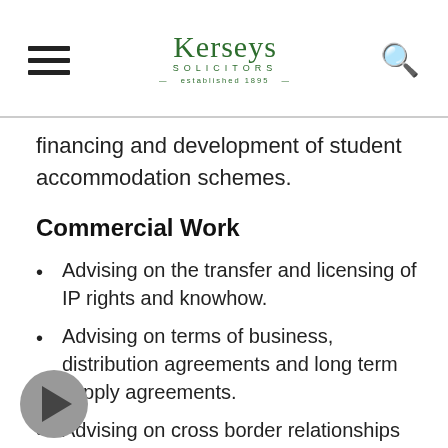Kerseys Solicitors — established 1895
financing and development of student accommodation schemes.
Commercial Work
Advising on the transfer and licensing of IP rights and knowhow.
Advising on terms of business, distribution agreements and long term supply agreements.
Advising on cross border relationships between UK based HE institutions and HE institutions overseas, particularly in relation to IP issues.
Advising on R&D agreements, research